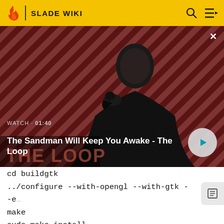SLADE WIKI
[Figure (screenshot): Video thumbnail showing The Sandman character with a raven on his shoulder against a red diagonal striped background. Overlay shows WATCH · 01:40 and video title.]
The Sandman Will Keep You Awake - The Loop
cd buildgtk
../configure --with-opengl --with-gtk --e
make
sudo make install
sudo ldconfig